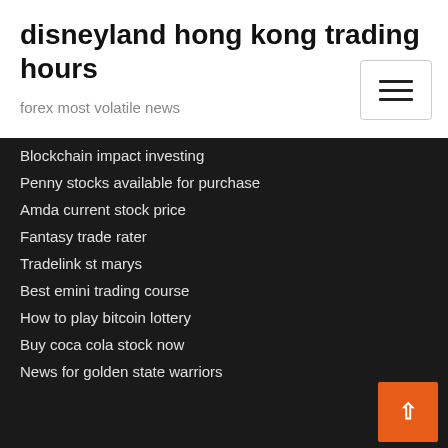disneyland hong kong trading hours
forex most volatile news
Blockchain impact investing
Penny stocks available for purchase
Amda current stock price
Fantasy trade rater
Tradelink st marys
Best emini trading course
How to play bitcoin lottery
Buy coca cola stock now
News for golden state warriors